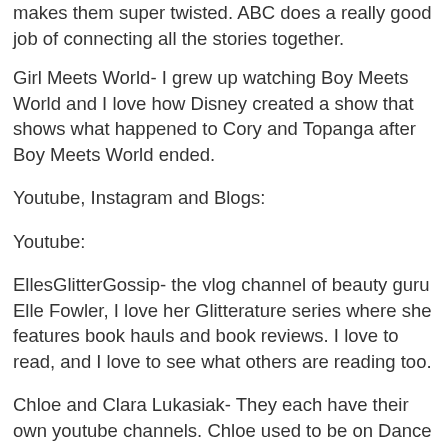makes them super twisted.  ABC does a really good job of connecting all the stories together.
Girl Meets World- I grew up watching Boy Meets World and I love how Disney created a show that shows what happened to Cory and Topanga after Boy Meets World ended.
Youtube, Instagram and Blogs:
Youtube:
EllesGlitterGossip- the vlog channel of beauty guru Elle Fowler, I love her Glitterature series where she features book hauls and book reviews.  I love to read, and I love to see what others are reading too.
Chloe and Clara Lukasiak- They each have their own youtube channels.  Chloe used to be on Dance Moms and every week she posts videos of dances that she's been working on at her new studio, she also posts other videos.  Clara her little sister posts